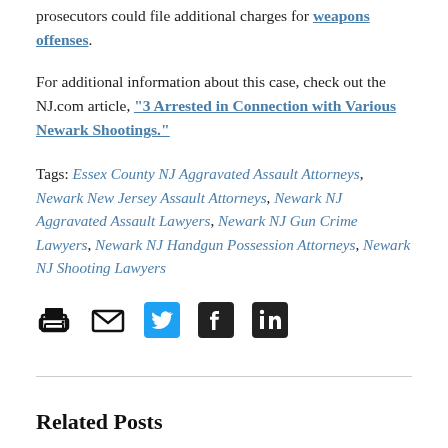prosecutors could file additional charges for weapons offenses.
For additional information about this case, check out the NJ.com article, “3 Arrested in Connection with Various Newark Shootings.”
Tags: Essex County NJ Aggravated Assault Attorneys, Newark New Jersey Assault Attorneys, Newark NJ Aggravated Assault Lawyers, Newark NJ Gun Crime Lawyers, Newark NJ Handgun Possession Attorneys, Newark NJ Shooting Lawyers
[Figure (infographic): Social sharing icons: print, email, Twitter, Facebook, LinkedIn]
Related Posts